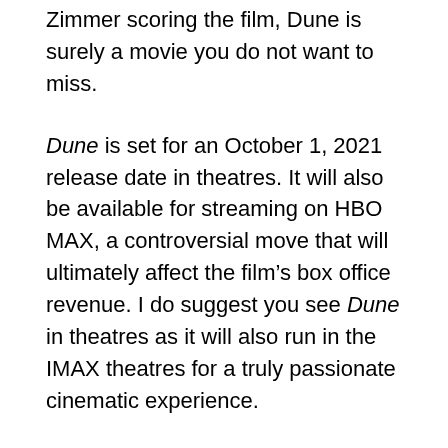Zimmer scoring the film, Dune is surely a movie you do not want to miss.
Dune is set for an October 1, 2021 release date in theatres. It will also be available for streaming on HBO MAX, a controversial move that will ultimately affect the film’s box office revenue. I do suggest you see Dune in theatres as it will also run in the IMAX theatres for a truly passionate cinematic experience.
All the before-mentioned movies are exciting and will surely give you a thrill. If you’re like me and need something to look forward to this year, the final release of all these great movies is it! I can’t wait to sit in a theatre again with a tub of popcorn in hand.